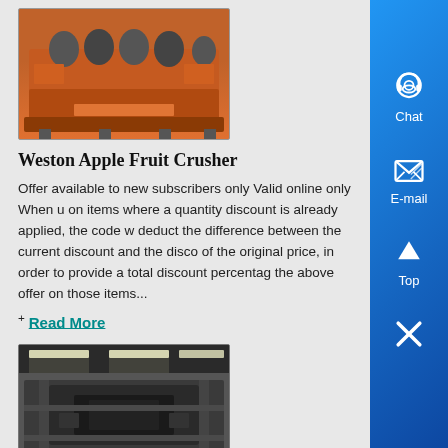[Figure (photo): Orange industrial fruit crusher machine - Weston Apple Fruit Crusher]
Weston Apple Fruit Crusher
Offer available to new subscribers only Valid online only When u on items where a quantity discount is already applied, the code w deduct the difference between the current discount and the disco of the original price, in order to provide a total discount percentag the above offer on those items...
+ Read More
[Figure (photo): Industrial cone crusher discharge hopper inside a factory]
cone crusher discharge hopper